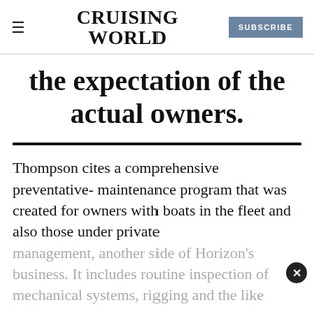CRUISING WORLD | SUBSCRIBE
the expectation of the actual owners.
Thompson cites a comprehensive preventative- maintenance program that was created for owners with boats in the fleet and also those under private management, another side of Horizon's business. It includes routine inspection of mechanical systems, rigging and the like